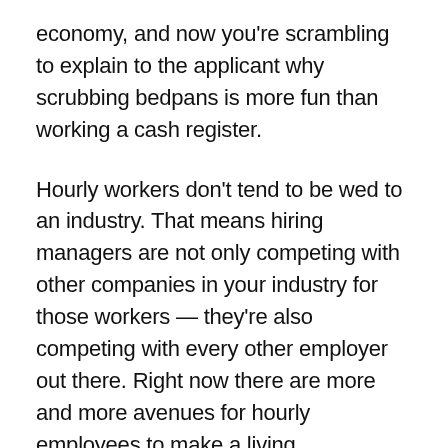economy, and now you're scrambling to explain to the applicant why scrubbing bedpans is more fun than working a cash register.
Hourly workers don't tend to be wed to an industry. That means hiring managers are not only competing with other companies in your industry for those workers — they're also competing with every other employer out there. Right now there are more and more avenues for hourly employees to make a living.
If you're having trouble hiring, open your mind to see the wider job possibilities workers are looking at. Show them the money, but just as